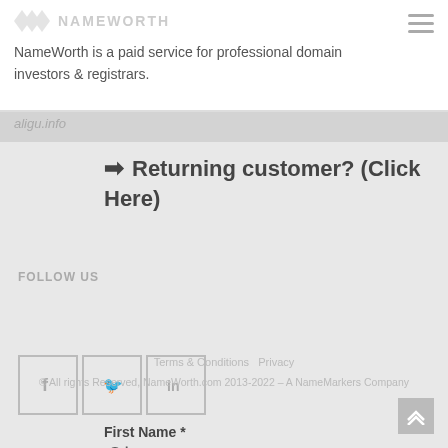NameWorth is a paid service for professional domain investors & registrars.
➔  Returning customer? (Click Here)
[Figure (infographic): Social media icons: Facebook (f), Twitter (bird), LinkedIn (in) in bordered boxes]
Create your account
Email *
Password *
First Name *
Terms & Conditions   Privacy
© All rights Reserved, NameWorth.com 2013-2022 – A NameMarkers Company